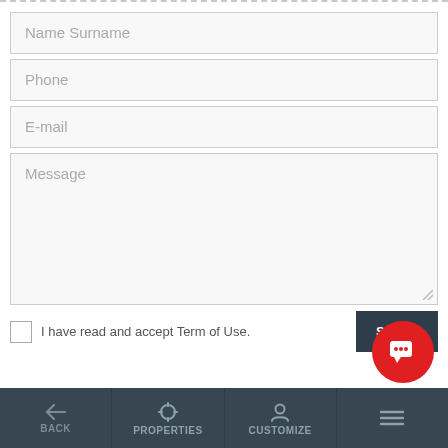[Figure (screenshot): Contact form UI with fields: Name Surname, Phone, E-mail, Message textarea, a checkbox for Terms of Use acceptance, and a SEND button. Below is a red chat bubble icon and a dark navigation bar with BACK, PROPERTIES, CUSTOMIZE, and menu items.]